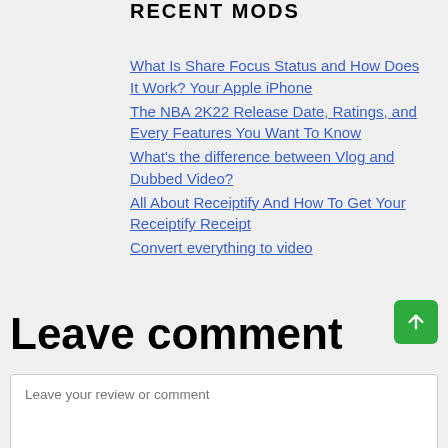RECENT MODS
What Is Share Focus Status and How Does It Work? Your Apple iPhone
The NBA 2K22 Release Date, Ratings, and Every Features You Want To Know
What's the difference between Vlog and Dubbed Video?
All About Receiptify And How To Get Your Receiptify Receipt
Convert everything to video
Leave comment
Leave your review or comment